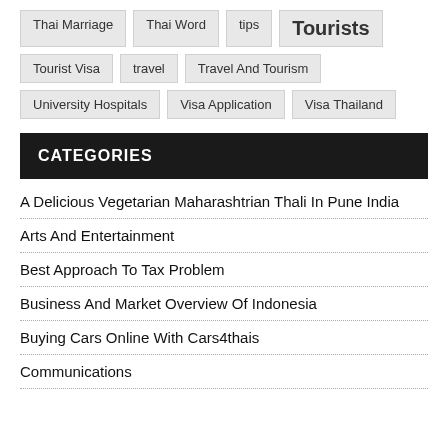Thai Marriage
Thai Word
tips
Tourists
Tourist Visa
travel
Travel And Tourism
University Hospitals
Visa Application
Visa Thailand
CATEGORIES
A Delicious Vegetarian Maharashtrian Thali In Pune India
Arts And Entertainment
Best Approach To Tax Problem
Business And Market Overview Of Indonesia
Buying Cars Online With Cars4thais
Communications